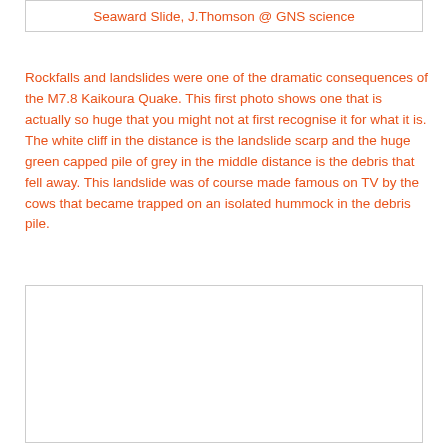Seaward Slide, J.Thomson @ GNS science
Rockfalls and landslides were one of the dramatic consequences of the M7.8 Kaikoura Quake. This first photo shows one that is actually so huge that you might not at first recognise it for what it is. The white cliff in the distance is the landslide scarp and the huge green capped pile of grey in the middle distance is the debris that fell away. This landslide was of course made famous on TV by the cows that became trapped on an isolated hummock in the debris pile.
[Figure (photo): A photograph placeholder box (white rectangle with border) showing the Seaward Slide landslide from the Kaikoura earthquake.]